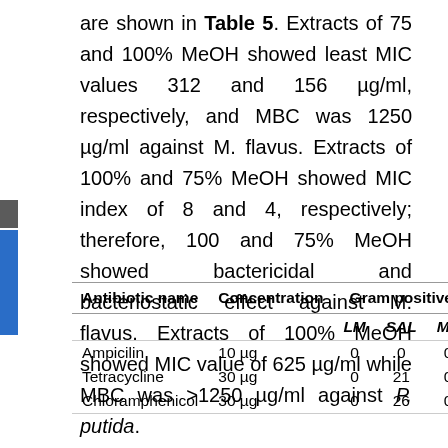are shown in Table 5. Extracts of 75 and 100% MeOH showed least MIC values 312 and 156 µg/ml, respectively, and MBC was 1250 µg/ml against M. flavus. Extracts of 100% and 75% MeOH showed MIC index of 8 and 4, respectively; therefore, 100 and 75% MeOH showed bactericidal and bacteriostatic effect against M. flavus. Extracts of 100% MeOH showed MIC value of 625 µg/ml while MBC was >1250 µg/ml against P. putida.
| Antibiotic name | Concentration | Gram positive |  |  |
| --- | --- | --- | --- | --- |
|  |  | LM | SAL | MF |
| Ampicilin | 10 µg | 0 | 0 | 0 |
| Tetracycline | 30 µg | 0 | 21 | 0 |
| Chloramphenicol | 30 µg | 0 | 26 | 0 |